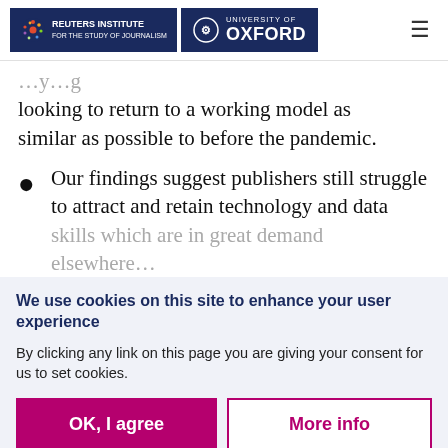Reuters Institute for the Study of Journalism | University of Oxford
looking to return to a working model as similar as possible to before the pandemic.
Our findings suggest publishers still struggle to attract and retain technology and data skills which are in great demand elsewhere…
We use cookies on this site to enhance your user experience
By clicking any link on this page you are giving your consent for us to set cookies.
OK, I agree | More info